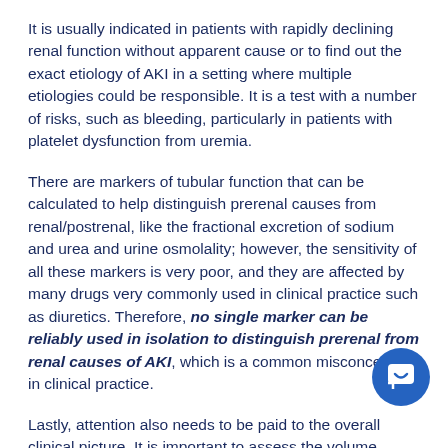It is usually indicated in patients with rapidly declining renal function without apparent cause or to find out the exact etiology of AKI in a setting where multiple etiologies could be responsible. It is a test with a number of risks, such as bleeding, particularly in patients with platelet dysfunction from uremia.
There are markers of tubular function that can be calculated to help distinguish prerenal causes from renal/postrenal, like the fractional excretion of sodium and urea and urine osmolality; however, the sensitivity of all these markers is very poor, and they are affected by many drugs very commonly used in clinical practice such as diuretics. Therefore, no single marker can be reliably used in isolation to distinguish prerenal from renal causes of AKI, which is a common misconception in clinical practice.
Lastly, attention also needs to be paid to the overall clinical picture. It is important to assess the volume status of the patient to exclude possible cardiorenal or hepatorenal syndrome. Cardiorenal syndrome is usually due to poor glomerular filtration due to venous congestion and a lack of forward flow due to poor cardiac output. Hepatorenal